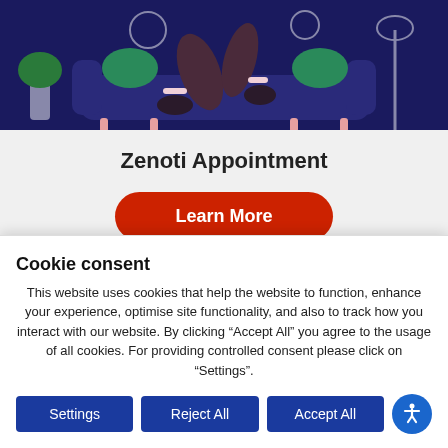[Figure (illustration): Dark blue background illustration showing a person sitting on a couch with decorative elements and plants]
Zenoti Appointment
Learn More
[Figure (illustration): Light blue rounded card section]
Cookie consent
This website uses cookies that help the website to function, enhance your experience, optimise site functionality, and also to track how you interact with our website. By clicking “Accept All” you agree to the usage of all cookies. For providing controlled consent please click on “Settings”.
Settings
Reject All
Accept All